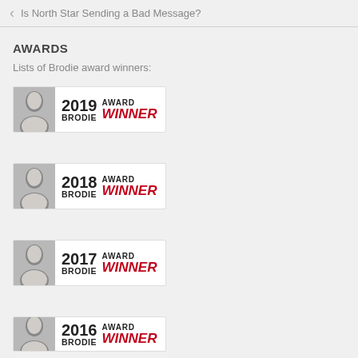Is North Star Sending a Bad Message?
AWARDS
Lists of Brodie award winners:
[Figure (logo): 2019 Brodie Award Winner badge with portrait photo]
[Figure (logo): 2018 Brodie Award Winner badge with portrait photo]
[Figure (logo): 2017 Brodie Award Winner badge with portrait photo]
[Figure (logo): 2016 Brodie Award Winner badge with portrait photo (partially visible)]